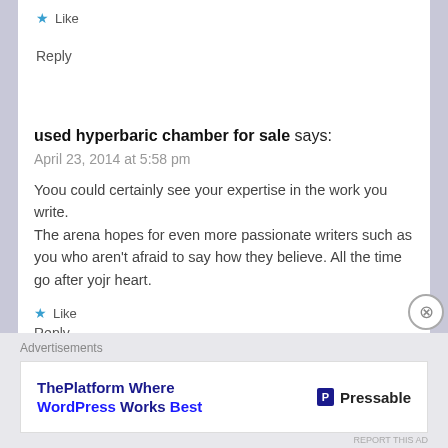★ Like
Reply
used hyperbaric chamber for sale says:
April 23, 2014 at 5:58 pm
Yoou could certainly see your expertise in the work you write.
The arena hopes for even more passionate writers such as you who aren't afraid to say how they believe. All the time go after yojr heart.
★ Like
Reply
Advertisements
ThePlatform Where WordPress Works Best | Pressable